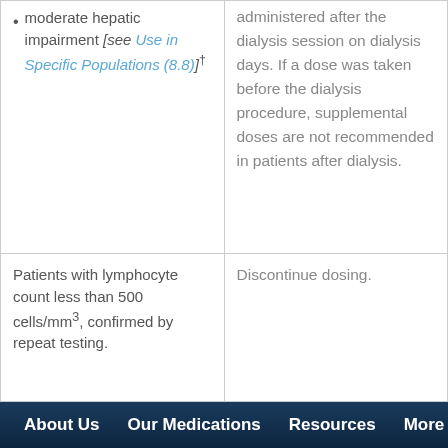moderate hepatic impairment [see Use in Specific Populations (8.8)]†
administered after the dialysis session on dialysis days. If a dose was taken before the dialysis procedure, supplemental doses are not recommended in patients after dialysis.
Patients with lymphocyte count less than 500 cells/mm³, confirmed by repeat testing.
Discontinue dosing.
About Us   Our Medications   Resources   More